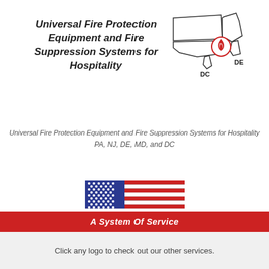[Figure (logo): Map outline of states PA, NJ, DE, MD, DC with a fire protection logo icon]
Universal Fire Protection Equipment and Fire Suppression Systems for Hospitality
Universal Fire Protection Equipment and Fire Suppression Systems for Hospitality
PA, NJ, DE, MD, and DC
[Figure (illustration): American flag illustration]
American Made - Family Owned
A System Of Service
Click any logo to check out our other services.